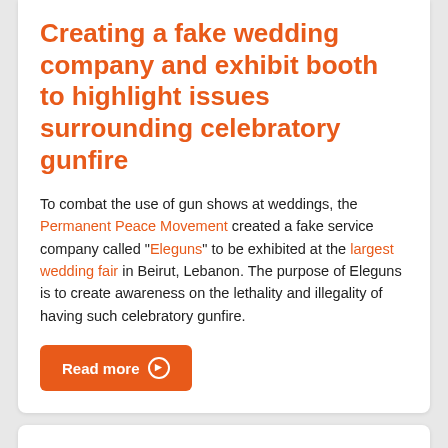Creating a fake wedding company and exhibit booth to highlight issues surrounding celebratory gunfire
To combat the use of gun shows at weddings, the Permanent Peace Movement created a fake service company called "Eleguns" to be exhibited at the largest wedding fair in Beirut, Lebanon. The purpose of Eleguns is to create awareness on the lethality and illegality of having such celebratory gunfire.
The Redirect Method: Disrupting Extremist Recruitment Online
A leading group of private industry developers cultivated a plan to create and disseminate targeted anti-extremist online content to disrupt online terrorist recruitment efforts. Since the pilot program's